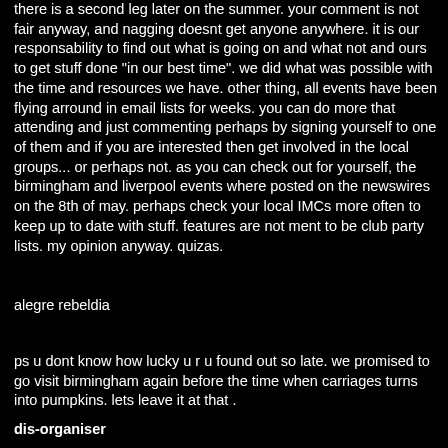there is a second leg later on the summer. your comment is not fair anyway, and nagging doesnt get anyone anywhere. it is our responsability to find out what is going on and what not and ours to get stuff done "in our best time". we did what was possible with the time and resources we have. other thing, all events have been flying arround in email lists for weeks. you can do more that attending and just commenting perhaps by signing yourself to one of them and if you are interested then get involved in the local groups... or perhaps not. as you can check out for yourself, the birmingham and liverpool events where posted on the newswires on the 8th of may. perhaps check your local IMCs more often to keep up to date with stuff. features are not ment to be club party lists. my opinion anyway. quizas.
alegre rebeldia
ps u dont know how lucky u r u found out so late. we promised to go visit birmingham again before the time when carriages turns into pumpkins. lets leave it at that .
dis-organiser